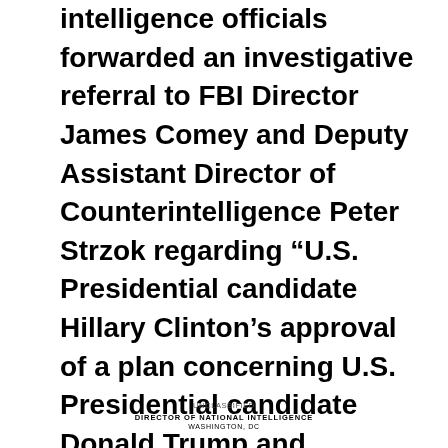intelligence officials forwarded an investigative referral to FBI Director James Comey and Deputy Assistant Director of Counterintelligence Peter Strzok regarding “U.S. Presidential candidate Hillary Clinton’s approval of a plan concerning U.S. Presidential candidate Donald Trump and Russian hackers hampering U.S. elections as a means of distracting the public from her use of a private mail server.”
UNCLASSIFIED
DIRECTOR OF NATIONAL INTELLIGENCE
WASHINGTON, DC